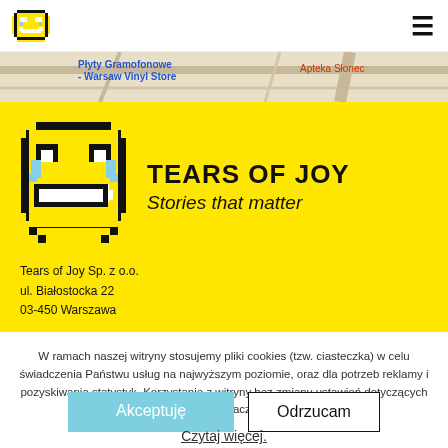Tears of Joy [logo] [hamburger menu]
[Figure (map): Street map background strip showing Płyty Gramofonowe - Warsaw Vinyl Store label in blue and Apteka Słonec label in red]
[Figure (logo): Tears of Joy pixel-art emoji logo on yellow background with company name TEARS OF JOY and tagline Stories that matter]
Tears of Joy Sp. z o.o.
ul. Białostocka 22
03-450 Warszawa
W ramach naszej witryny stosujemy pliki cookies (tzw. ciasteczka) w celu świadczenia Państwu usług na najwyższym poziomie, oraz dla potrzeb reklamy i pozyskiwania statystyk. Korzystanie z witryny bez zmiany ustawień dotyczących cookies oznacza, że
Akceptuję
Odrzucam
Czytaj więcej.